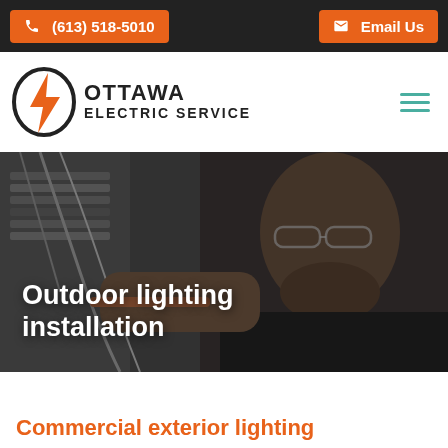(613) 518-5010  |  Email Us
[Figure (logo): Ottawa Electric Service logo with orange lightning bolt inside a circular design and company name text]
[Figure (photo): Electrician working on electrical panel/circuit breaker board, wearing safety glasses, close-up view]
Outdoor lighting installation
Commercial exterior lighting